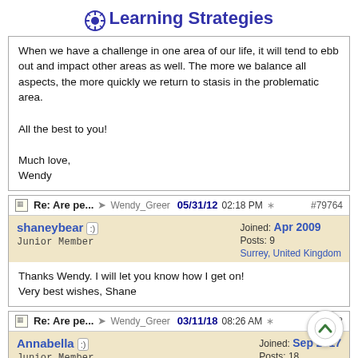Learning Strategies
When we have a challenge in one area of our life, it will tend to ebb out and impact other areas as well. The more we balance all aspects, the more quickly we return to stasis in the problematic area.

All the best to you!

Much love,
Wendy
Re: Are pe... → Wendy_Greer 05/31/12 02:18 PM #79764
shaneybear  Joined: Apr 2009
Junior Member  Posts: 9
  Surrey, United Kingdom
Thanks Wendy. I will let you know how I get on!
Very best wishes, Shane
Re: Are pe... → Wendy_Greer 03/11/18 08:26 AM #87282
Annabella  Joined: Sep 2017
Junior Member  Posts: 18
Wow, this is what I am finding, that my health, Relationships,